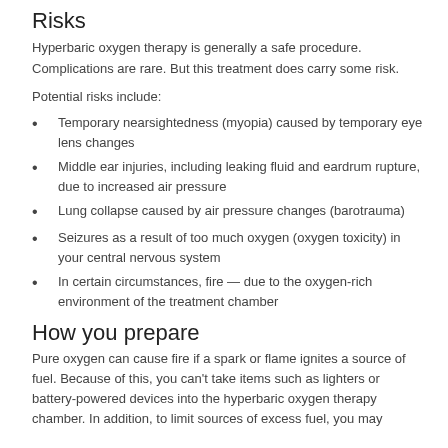Risks
Hyperbaric oxygen therapy is generally a safe procedure. Complications are rare. But this treatment does carry some risk.
Potential risks include:
Temporary nearsightedness (myopia) caused by temporary eye lens changes
Middle ear injuries, including leaking fluid and eardrum rupture, due to increased air pressure
Lung collapse caused by air pressure changes (barotrauma)
Seizures as a result of too much oxygen (oxygen toxicity) in your central nervous system
In certain circumstances, fire — due to the oxygen-rich environment of the treatment chamber
How you prepare
Pure oxygen can cause fire if a spark or flame ignites a source of fuel. Because of this, you can't take items such as lighters or battery-powered devices into the hyperbaric oxygen therapy chamber. In addition, to limit sources of excess fuel, you may